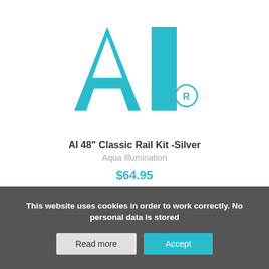[Figure (logo): Aqua Illumination teal/turquoise 'AI' logo with registered trademark symbol]
AI 48" Classic Rail Kit -Silver
Aqua Illumination
$64.95
This website uses cookies in order to work correctly. No personal data is stored
Read more
Accept